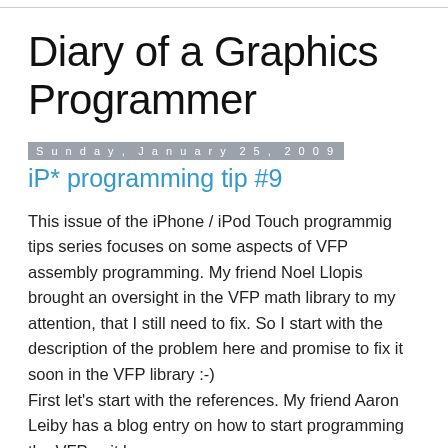Diary of a Graphics Programmer
Sunday, January 25, 2009
iP* programming tip #9
This issue of the iPhone / iPod Touch programmig tips series focuses on some aspects of VFP assembly programming. My friend Noel Llopis brought an oversight in the VFP math library to my attention, that I still need to fix. So I start with the description of the problem here and promise to fix it soon in the VFP library :-)
First let's start with the references. My friend Aaron Leiby has a blog entry on how to start programming the VFP unit here: